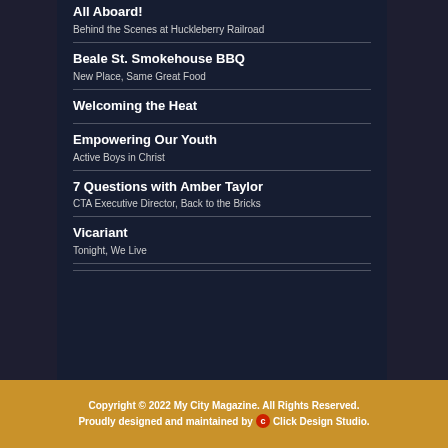All Aboard!
Behind the Scenes at Huckleberry Railroad
Beale St. Smokehouse BBQ
New Place, Same Great Food
Welcoming the Heat
Empowering Our Youth
Active Boys in Christ
7 Questions with Amber Taylor
CTA Executive Director, Back to the Bricks
Vicariant
Tonight, We Live
Copyright © 2022 My City Magazine. All Rights Reserved.
Proudly designed and maintained by Click Design Studio.